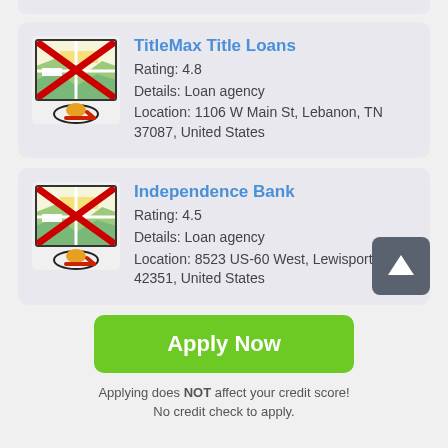[Figure (other): Partial card strip at top]
TitleMax Title Loans
Rating: 4.8
Details: Loan agency
Location: 1106 W Main St, Lebanon, TN 37087, United States
Independence Bank
Rating: 4.5
Details: Loan agency
Location: 8523 US-60 West, Lewisport, KY 42351, United States
Apply Now
Applying does NOT affect your credit score!
No credit check to apply.